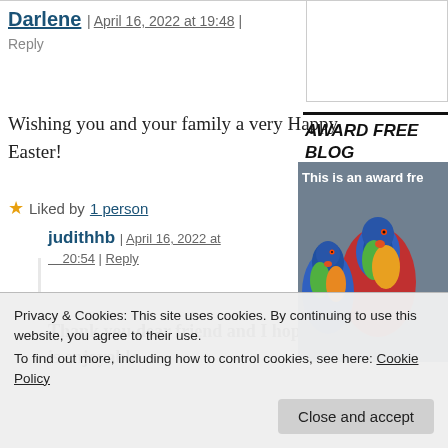Darlene | April 16, 2022 at 19:48 | Reply
[Figure (photo): Avatar photo of Darlene, woman with dark hair in red jacket against yellow flowers background]
Wishing you and your family a very Happy Easter!
★ Liked by 1 person
judithhb | April 16, 2022 at 20:54 | Reply
[Figure (photo): Avatar photo of judithhb, woman with white/blonde hair wearing glasses]
Thank you dear friend and I hope your Easter is enjoyable
[Figure (photo): Colorful lorikeet parrots perched together, part of award free blog sidebar image with text 'This is an award fre']
AWARD FREE BLOG
Privacy & Cookies: This site uses cookies. By continuing to use this website, you agree to their use.
To find out more, including how to control cookies, see here: Cookie Policy